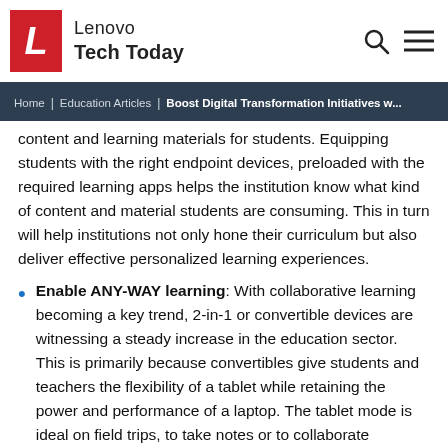Lenovo Tech Today
Home | Education Articles | Boost Digital Transformation Initiatives w...
content and learning materials for students. Equipping students with the right endpoint devices, preloaded with the required learning apps helps the institution know what kind of content and material students are consuming. This in turn will help institutions not only hone their curriculum but also deliver effective personalized learning experiences.
Enable ANY-WAY learning: With collaborative learning becoming a key trend, 2-in-1 or convertible devices are witnessing a steady increase in the education sector. This is primarily because convertibles give students and teachers the flexibility of a tablet while retaining the power and performance of a laptop. The tablet mode is ideal on field trips, to take notes or to collaborate conveniently using the touch screen, while the laptop